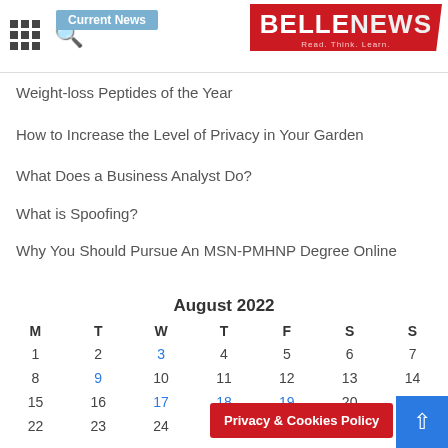Current News | BELLENEWS Read. Think. Learn.
Weight-loss Peptides of the Year
How to Increase the Level of Privacy in Your Garden
What Does a Business Analyst Do?
What is Spoofing?
Why You Should Pursue An MSN-PMHNP Degree Online
| M | T | W | T | F | S | S |
| --- | --- | --- | --- | --- | --- | --- |
| 1 | 2 | 3 | 4 | 5 | 6 | 7 |
| 8 | 9 | 10 | 11 | 12 | 13 | 14 |
| 15 | 16 | 17 | 18 | 19 | 20 | 21 |
| 22 | 23 | 24 |  |  |  | 28 |
Privacy & Cookies Policy